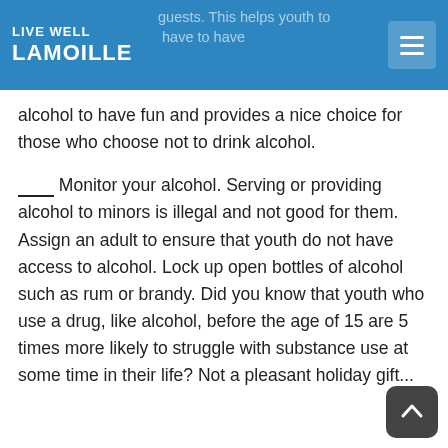LIVE WELL LAMOILLE
alcohol to have fun and provides a nice choice for those who choose not to drink alcohol.
____ Monitor your alcohol. Serving or providing alcohol to minors is illegal and not good for them.  Assign an adult to ensure that youth do not have access to alcohol. Lock up open bottles of alcohol such as rum or brandy. Did you know that youth who use a drug, like alcohol, before the age of 15 are 5 times more likely to struggle with substance use at some time in their life? Not a pleasant holiday gift...